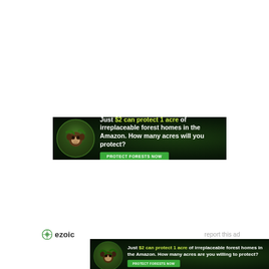[Figure (illustration): Advertisement banner: dark forest background with monkey in circular frame on left. Text: 'Just $2 can protect 1 acre of irreplaceable forest homes in the Amazon. How many acres will you protect?' with green 'PROTECT FORESTS NOW' button.]
[Figure (logo): Ezoic logo with circular icon and 'ezoic' text, alongside 'report this ad' link in gray.]
[Figure (illustration): Second advertisement banner (larger format): dark forest background with monkey/sloth in circular frame. Text: 'Just $2 can protect 1 acre of irreplaceable forest homes in the Amazon. How many acres are you willing to protect?' with green 'PROTECT FORESTS NOW' button.]